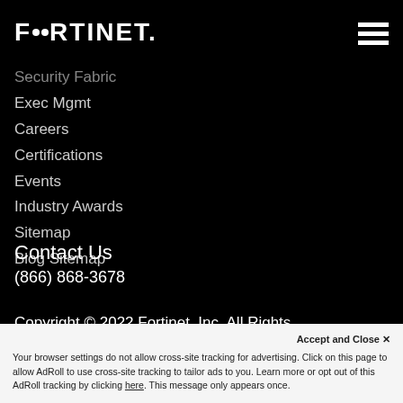FORTINET
Security Fabric
Exec Mgmt
Careers
Certifications
Events
Industry Awards
Sitemap
Blog Sitemap
Contact Us
(866) 868-3678
Copyright © 2022 Fortinet, Inc. All Rights Reserved
Accept and Close ✕
Your browser settings do not allow cross-site tracking for advertising. Click on this page to allow AdRoll to use cross-site tracking to tailor ads to you. Learn more or opt out of this AdRoll tracking by clicking here. This message only appears once.